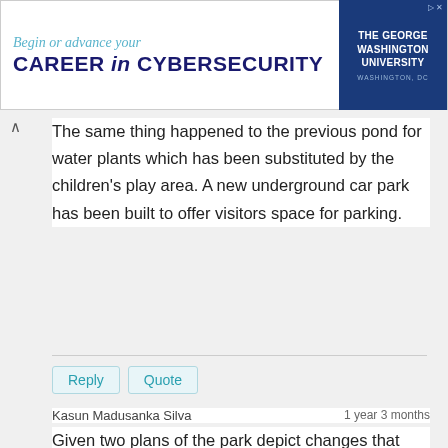[Figure (other): Advertisement banner for The George Washington University: 'Begin or advance your CAREER in CYBERSECURITY']
The same thing happened to the previous pond for water plants which has been substituted by the children's play area. A new underground car park has been built to offer visitors space for parking.
Reply  Quote
Kasun Madusanka Silva    1 year 3 months
Given two plans of the park depict changes that have been made to the park since it was opened in 1920.